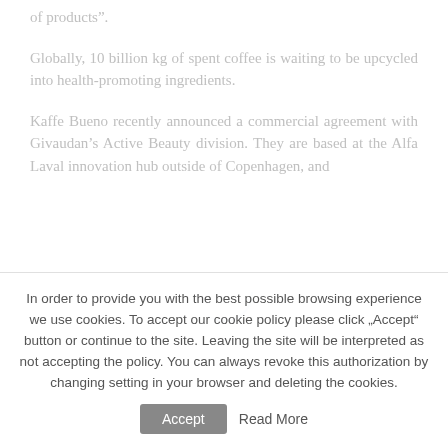of products".
Globally, 10 billion kg of spent coffee is waiting to be upcycled into health-promoting ingredients.
Kaffe Bueno recently announced a commercial agreement with Givaudan’s Active Beauty division. They are based at the Alfa Laval innovation hub outside of Copenhagen, and
In order to provide you with the best possible browsing experience we use cookies. To accept our cookie policy please click „Accept“ button or continue to the site. Leaving the site will be interpreted as not accepting the policy. You can always revoke this authorization by changing setting in your browser and deleting the cookies.